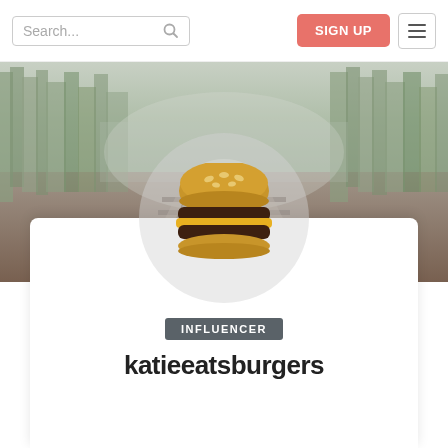Search... [search icon] | SIGN UP | [menu icon]
[Figure (photo): Banner photo of railroad tracks receding into a misty forest of pine trees, desaturated green-gray tones]
[Figure (illustration): Circular avatar with burger/hamburger emoji illustration on light gray circle background]
INFLUENCER
katieeatsburgers